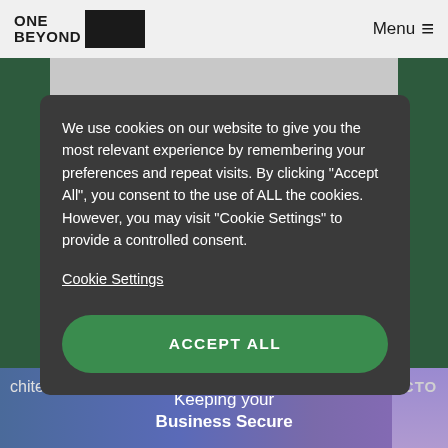ONE BEYOND  Menu
We use cookies on our website to give you the most relevant experience by remembering your preferences and repeat visits. By clicking “Accept All”, you consent to the use of ALL the cookies. However, you may visit "Cookie Settings" to provide a controlled consent.
Cookie Settings
ACCEPT ALL
chitect  Keeping your Business Secure  CTO  VER